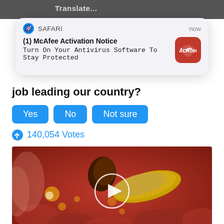[Figure (screenshot): Safari browser notification popup: (1) McAfee Activation Notice - Turn On Your Antivirus Software To Stay Protected, with McAfee red icon]
job leading our country?
Yes   No   Not sure
140,054 Votes
[Figure (photo): Medical illustration of intestines/digestive system with a gallstone or parasite, with a play button overlay]
Stop Using Metformin. Here's Why